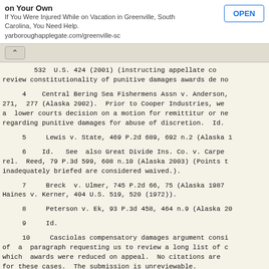[Figure (screenshot): Advertisement banner: 'on Your Own - If You Were Injured While on Vacation in Greenville, South Carolina, You Need Help. yarboroughapplegate.com/greenville-sc' with an OPEN button]
532 U.S. 424 (2001) (instructing appellate courts to review constitutionality of punitive damages awards de novo
4  Central Bering Sea Fishermens Assn v. Anderson, 271, 277 (Alaska 2002). Prior to Cooper Industries, we reviewed a lower courts decision on a motion for remittitur or new trial regarding punitive damages for abuse of discretion. Id.
5  Lewis v. State, 469 P.2d 689, 692 n.2 (Alaska 1
6  Id. See also Great Divide Ins. Co. v. Carpe rel. Reed, 79 P.3d 599, 608 n.10 (Alaska 2003) (Points inadequately briefed are considered waived.).
7  Breck v. Ulmer, 745 P.2d 66, 75 (Alaska 1987); Haines v. Kerner, 404 U.S. 519, 520 (1972)).
8  Peterson v. Ek, 93 P.3d 458, 464 n.9 (Alaska 20
9  Id.
10  Casciolas compensatory damages argument consists of a paragraph requesting us to review a long list of cases in which awards were reduced on appeal. No citations are provided for these cases. The submission is unreviewable.